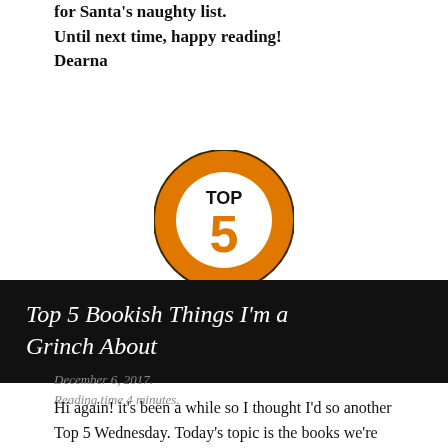for Santa's naughty list.
Until next time, happy reading!
Dearna
[Figure (logo): Orange circular 'TOP 5' badge logo with the number 5 in large orange text inside a dark ring, and 'TOP' written in black above the 5]
Top 5 Bookish Things I'm a Grinch About
December 6, 2017.
Reading time 4 minutes.
Hi again! it's been a while so I thought I'd so another Top 5 Wednesday. Today's topic is the books we're thankful for. In honour of NaNoWriMo wrapping up, we are discussing some authors we'd like to write like.